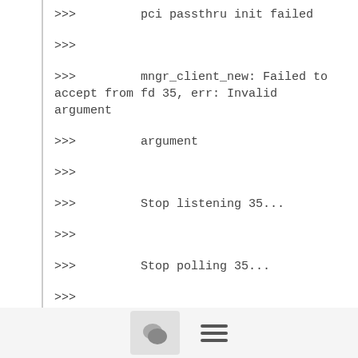>>>         pci passthru init failed
>>>
>>>         mngr_client_new: Failed to accept from fd 35, err: Invalid
>>>         argument
>>>
>>>         Stop listening 35...
>>>
>>>         Stop polling 35...
>>>